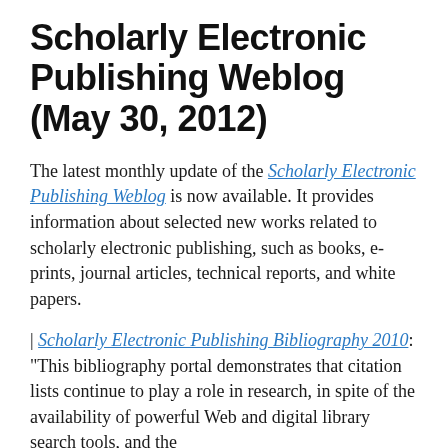Scholarly Electronic Publishing Weblog (May 30, 2012)
The latest monthly update of the Scholarly Electronic Publishing Weblog is now available. It provides information about selected new works related to scholarly electronic publishing, such as books, e-prints, journal articles, technical reports, and white papers.
| Scholarly Electronic Publishing Bibliography 2010: "This bibliography portal demonstrates that citation lists continue to play a role in research, in spite of the availability of powerful Web and digital library search tools, in part because the...